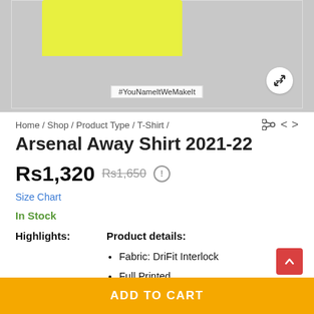[Figure (photo): Product image of Arsenal Away Shirt 2021-22 in yellow-green color on grey background with #YouNameItWeMakeIt watermark and expand icon]
Home / Shop / Product Type / T-Shirt /
Arsenal Away Shirt 2021-22
Rs1,320  Rs1,650  !
Size Chart
In Stock
Highlights:    Product details:
Fabric: DriFit Interlock
Full Printed
Material wicks sweat & dries really fast